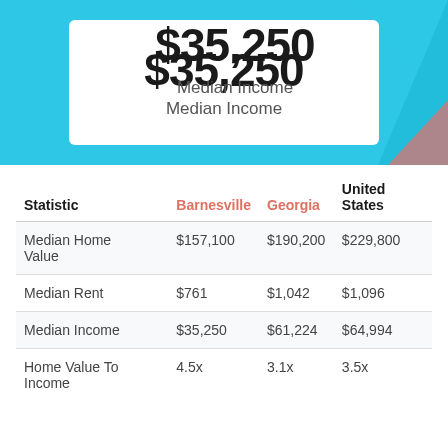$35,250
Median Income
| Statistic | Barnesville | Georgia | United States |
| --- | --- | --- | --- |
| Median Home Value | $157,100 | $190,200 | $229,800 |
| Median Rent | $761 | $1,042 | $1,096 |
| Median Income | $35,250 | $61,224 | $64,994 |
| Home Value To Income | 4.5x | 3.1x | 3.5x |